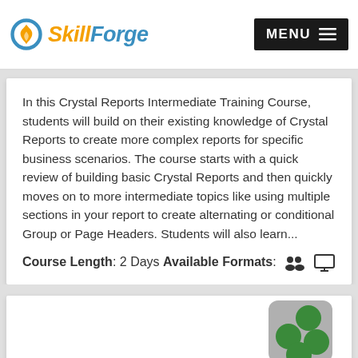SkillForge — MENU
In this Crystal Reports Intermediate Training Course, students will build on their existing knowledge of Crystal Reports to create more complex reports for specific business scenarios. The course starts with a quick review of building basic Crystal Reports and then quickly moves on to more intermediate topics like using multiple sections in your report to create alternating or conditional Group or Page Headers. Students will also learn...
Course Length: 2 Days Available Formats:
[Figure (logo): Crystal Reports logo — four green circles in a flower/cross arrangement on a gray rounded rectangle background, with text 'crystal reports' below]